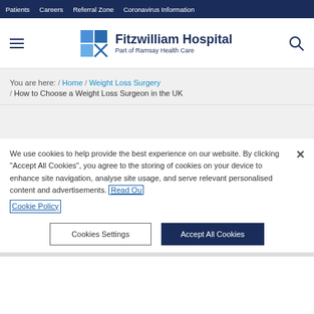Patients / Careers / Referral Zone / Coronavirus Information
[Figure (logo): Fitzwilliam Hospital logo — blue grid icon and text 'Fitzwilliam Hospital / Part of Ramsay Health Care']
You are here: / Home / Weight Loss Surgery / How to Choose a Weight Loss Surgeon in the UK
We use cookies to help provide the best experience on our website. By clicking "Accept All Cookies", you agree to the storing of cookies on your device to enhance site navigation, analyse site usage, and serve relevant personalised content and advertisements. Read Our Cookie Policy
Cookies Settings | Accept All Cookies